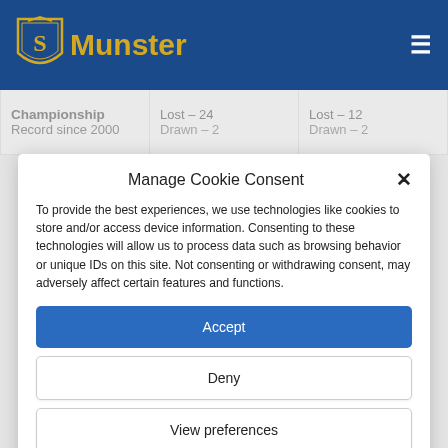Munster
|  |  |  |
| --- | --- | --- |
| Championship | Lost – 24 | Lost – 12 |
| Record since 2000 | Drawn – 2 | Drawn – 2 |
Manage Cookie Consent
To provide the best experiences, we use technologies like cookies to store and/or access device information. Consenting to these technologies will allow us to process data such as browsing behavior or unique IDs on this site. Not consenting or withdrawing consent, may adversely affect certain features and functions.
Accept
Deny
View preferences
Cookie Policy  Privacy Policy